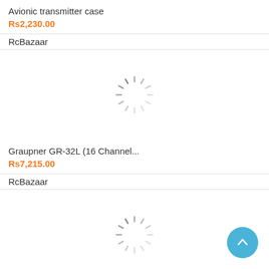Avionic transmitter case
Rs2,230.00
RcBazaar
[Figure (illustration): Loading spinner / placeholder for product image]
Graupner GR-32L (16 Channel...
Rs7,215.00
RcBazaar
[Figure (illustration): Loading spinner / placeholder for product image]